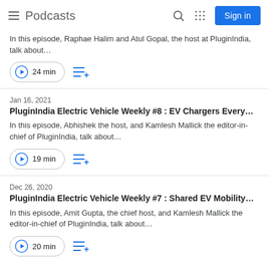Podcasts
In this episode, Raphae Halim and Atul Gopal, the host at PluginIndia, talk about…
24 min
Jan 16, 2021
PluginIndia Electric Vehicle Weekly #8 : EV Chargers Every…
In this episode, Abhishek the host, and Kamlesh Mallick the editor-in-chief of PluginIndia, talk about…
19 min
Dec 26, 2020
PluginIndia Electric Vehicle Weekly #7 : Shared EV Mobility…
In this episode, Amit Gupta, the chief host, and Kamlesh Mallick the editor-in-chief of PluginIndia, talk about…
20 min